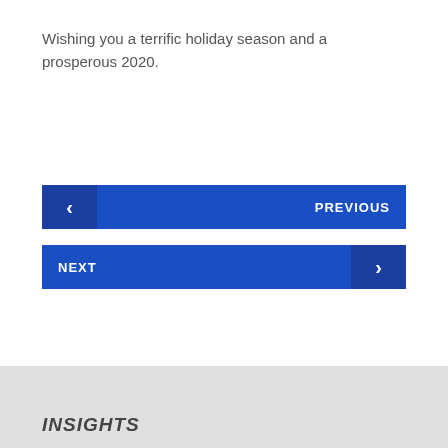Wishing you a terrific holiday season and a prosperous 2020.
PREVIOUS
NEXT
INSIGHTS